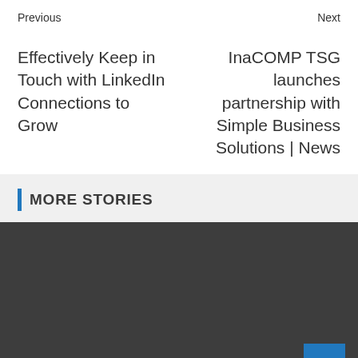Previous
Effectively Keep in Touch with LinkedIn Connections to Grow
Next
InaCOMP TSG launches partnership with Simple Business Solutions | News
MORE STORIES
[Figure (photo): Dark gray placeholder image block with a 'BUSINESS EFFECTIVE' blue tag at bottom left and a blue scroll-to-top arrow button at bottom right]